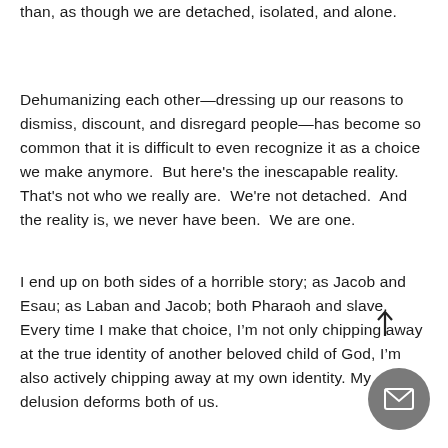than, as though we are detached, isolated, and alone.
Dehumanizing each other—dressing up our reasons to dismiss, discount, and disregard people—has become so common that it is difficult to even recognize it as a choice we make anymore.  But here's the inescapable reality. That's not who we really are.  We're not detached.  And the reality is, we never have been.  We are one.
I end up on both sides of a horrible story; as Jacob and Esau; as Laban and Jacob; both Pharaoh and slave.  Every time I make that choice, I'm not only chipping away at the true identity of another beloved child of God, I'm also actively chipping away at my own identity. My delusion deforms both of us.